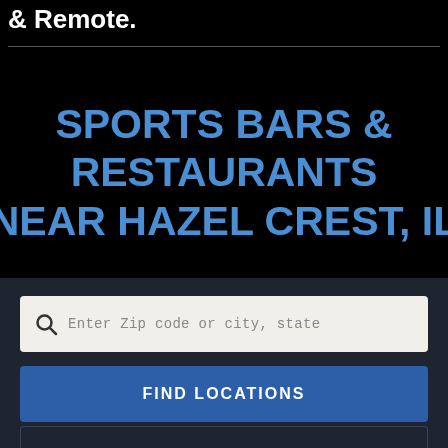& Remote.
SPORTS BARS & RESTAURANTS NEAR HAZEL CREST, IL
[Figure (screenshot): Search input box with magnifying glass icon and placeholder text 'Enter Zip code or city, state']
FIND LOCATIONS